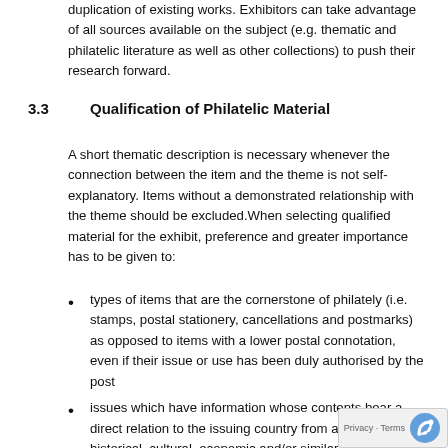duplication of existing works. Exhibitors can take advantage of all sources available on the subject (e.g. thematic and philatelic literature as well as other collections) to push their research forward.
3.3   Qualification of Philatelic Material
A short thematic description is necessary whenever the connection between the item and the theme is not self-explanatory. Items without a demonstrated relationship with the theme should be excluded.When selecting qualified material for the exhibit, preference and greater importance has to be given to:
types of items that are the cornerstone of philately (i.e. stamps, postal stationery, cancellations and postmarks) as opposed to items with a lower postal connotation, even if their issue or use has been duly authorised by the post
issues which have information whose contents bear a direct relation to the issuing country from a political, historical, cultural, economic and/or similar standpoint. Avoid speculative issues which exploit